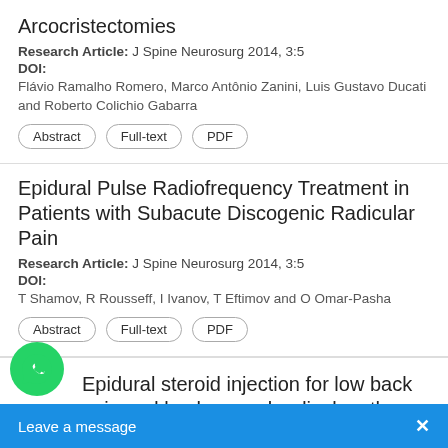Arcocristectomies
Research Article: J Spine Neurosurg 2014, 3:5
DOI:
Flávio Ramalho Romero, Marco Antônio Zanini, Luis Gustavo Ducati and Roberto Colichio Gabarra
Abstract | Full-text | PDF
Epidural Pulse Radiofrequency Treatment in Patients with Subacute Discogenic Radicular Pain
Research Article: J Spine Neurosurg 2014, 3:5
DOI:
T Shamov, R Rousseff, I Ivanov, T Eftimov and O Omar-Pasha
Abstract | Full-text | PDF
Epidural steroid injection for low back pain and lumbosacral radiculopathy; experience from a neurosurgery center in a developing country
Research Article: J Spine Neurosur
DOI: